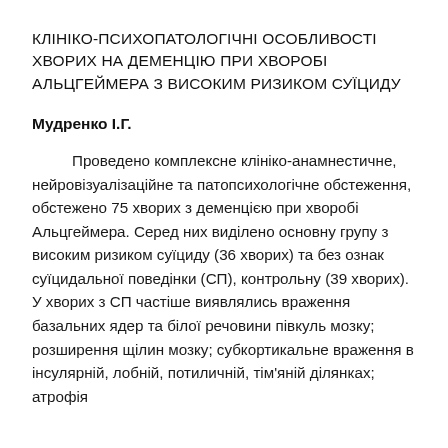КЛІНІКО-ПСИХОПАТОЛОГІЧНІ ОСОБЛИВОСТІ ХВОРИХ НА ДЕМЕНЦІЮ ПРИ ХВОРОБІ АЛЬЦГЕЙМЕРА З ВИСОКИМ РИЗИКОМ СУЇЦИДУ
Мудренко І.Г.
Проведено комплексне клініко-анамнестичне, нейровізуалізаційне та патопсихологічне обстеження, обстежено 75 хворих з деменцією при хворобі Альцгеймера. Серед них виділено основну групу з високим ризиком суїциду (36 хворих) та без ознак суїцидальної поведінки (СП), контрольну (39 хворих). У хворих з СП частіше виявлялись враження базальних ядер та білої речовини півкуль мозку; розширення щілин мозку; субкортикальне враження в інсулярній, лобній, потиличній, тім'яній ділянках; атрофія